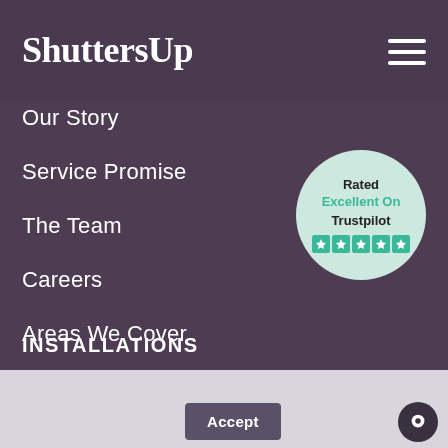ShuttersUp
Our Story
Service Promise
The Team
Careers
Areas We Cover
[Figure (infographic): Trustpilot badge circle: Rated Excellent On Trustpilot with 5 green stars]
INSTALLATIONS
We use cookies to ensure we give you the best experience on our website. To read more about the cookies we use and to change your settings please see our cookies policy.